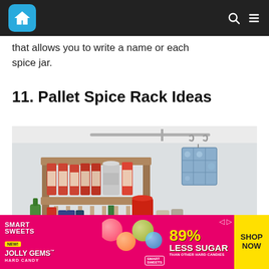Home improvement website header with logo and navigation icons
that allows you to write a name or each spice jar.
11. Pallet Spice Rack Ideas
[Figure (photo): A wooden pallet spice rack with two shelves holding various spice jars and a metal can, with a decorative pot holder hanging from an S-hook rail on the wall beside it. The lower area shows additional bottles and containers on the counter.]
[Figure (photo): Smart Sweets Jolly Gems Hard Candy advertisement banner with pink background showing '89% Less Sugar Than Other Hard Candies' and a yellow 'Shop Now' button.]